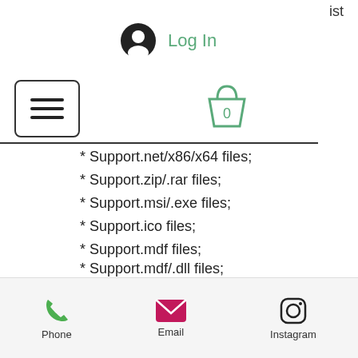ist
[Figure (screenshot): User account icon (dark circle with person silhouette) followed by green 'Log In' text link]
[Figure (screenshot): Hamburger menu icon (three horizontal lines in a rounded rectangle) and shopping cart icon with '0' badge]
* Support.net/x86/x64 files;
* Support.zip/.rar files;
* Support.msi/.exe files;
* Support.ico files;
* Support.mdf files;
* Support.mdf/.dll files;
* Support.cab files;
* Support.cab/.exe files;
* Support.ttf/.ttc files;
* Support.pf2 files;
* Support.zip/.rar files;
* Support.aes files;
* Support.m3u files;
Phone   Email   Instagram